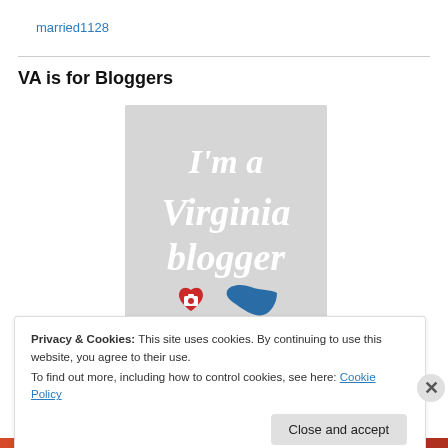married1128
VA is for Bloggers
[Figure (illustration): Badge graphic with light gray background showing white serif text 'I'm a Virginia blogger' with a red heart camera icon and a blue Virginia state shape at the bottom]
Privacy & Cookies: This site uses cookies. By continuing to use this website, you agree to their use.
To find out more, including how to control cookies, see here: Cookie Policy
Close and accept